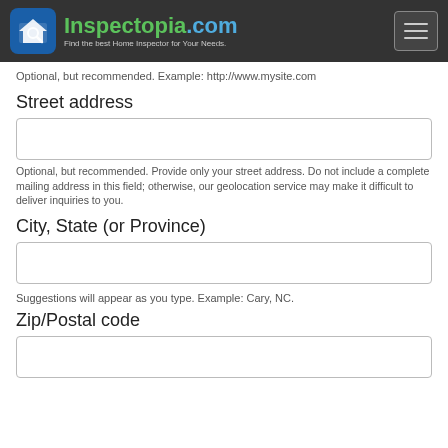Inspectopia.com — Find the best Home Inspector for Your Needs.
Optional, but recommended. Example: http://www.mysite.com
Street address
Optional, but recommended. Provide only your street address. Do not include a complete mailing address in this field; otherwise, our geolocation service may make it difficult to deliver inquiries to you.
City, State (or Province)
Suggestions will appear as you type. Example: Cary, NC.
Zip/Postal code